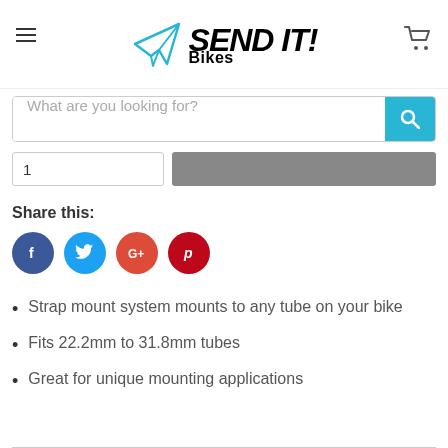[Figure (logo): Send It! Bikes logo with paper airplane icon in blue and bold italic text]
What are you looking for?
Share this:
[Figure (infographic): Social media share icons: Facebook (blue), Twitter (light blue), Google+ (red-orange), Pinterest (dark red)]
Strap mount system mounts to any tube on your bike
Fits 22.2mm to 31.8mm tubes
Great for unique mounting applications